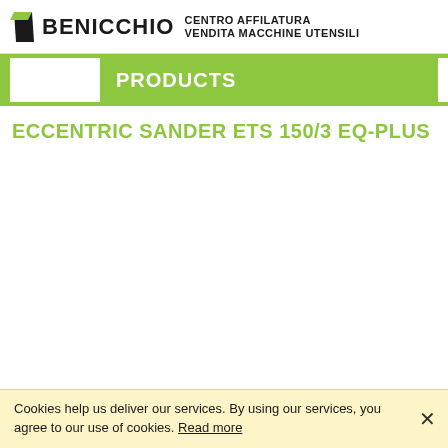BENICCHIO CENTRO AFFILATURA VENDITA MACCHINE UTENSILI
PRODUCTS
ECCENTRIC SANDER ETS 150/3 EQ-PLUS
Cookies help us deliver our services. By using our services, you agree to our use of cookies. Read more